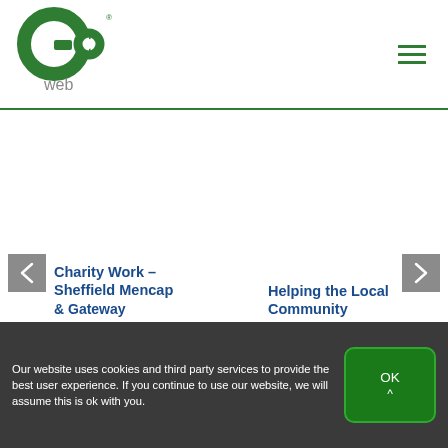[Figure (logo): Go Web logo — green circular 'go' letterform with 'web' text below in gray, registered trademark symbol]
[Figure (other): Hamburger menu icon (three horizontal green lines) in top-right corner]
Charity Work – Sheffield Mencap & Gateway
Helping the Local Community
Our website uses cookies and third party services to provide the best user experience. If you continue to use our website, we will assume this is ok with you.